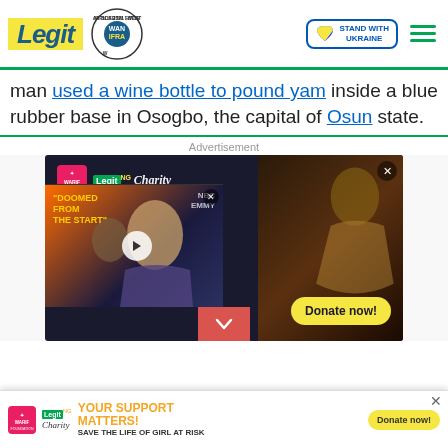Legit - WAN-IFRA 2021 Best News Website in Africa - Stand With Ukraine
man used a wine bottle to pound yam inside a blue rubber base in Osogbo, the capital of Osun state.
Advertisement
[Figure (photo): Legit.ng Charity / WARIF advertisement banner showing 'YOUR SUPPORT' in yellow text on dark background with a person in distress, and a 'Donate now!' button]
[Figure (photo): Video overlay with text 'DOOMED FROM THE START' over celebrity photos with NBC/EMMY branding and a play button]
[Figure (photo): Bottom banner: YOUR SUPPORT MATTERS! SAVE THE LIFE OF GIRL AT RISK - Legit Charity / WARIF with Donate now! button]